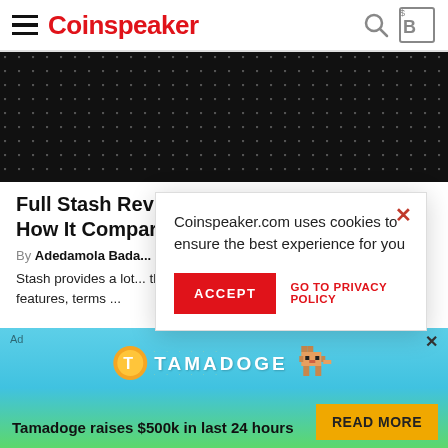Coinspeaker
[Figure (photo): Dark hero banner with dot grid pattern on black background]
Full Stash Review: Merits, Demerits and How It Compares to Its Counterparts
By Adedamola Bada...
Stash provides a lot... the right investment... key features, terms ...
Coinspeaker.com uses cookies to ensure the best experience for you
[Figure (screenshot): Tamadoge advertisement banner: Tamadoge raises $500k in last 24 hours, with READ MORE button]